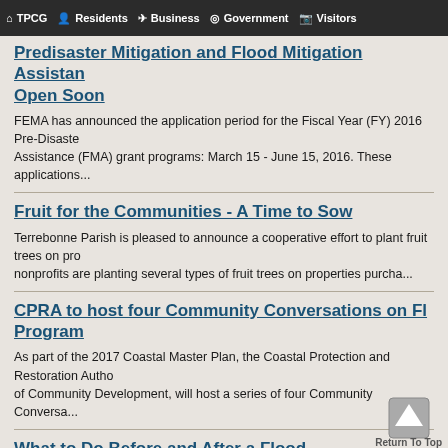TPCG | Residents | Business | Government | Visitors
Predisaster Mitigation and Flood Mitigation Assistance Grant Programs Open Soon
FEMA has announced the application period for the Fiscal Year (FY) 2016 Pre-Disaster Assistance (FMA) grant programs: March 15 - June 15, 2016. These applications...
Fruit for the Communities - A Time to Sow
Terrebonne Parish is pleased to announce a cooperative effort to plant fruit trees on pro... nonprofits are planting several types of fruit trees on properties purcha...
CPRA to host four Community Conversations on Fl... Program
As part of the 2017 Coastal Master Plan, the Coastal Protection and Restoration Autho... of Community Development, will host a series of four Community Conversa...
What to Do Before and After a Flood
We are past the official storm season and had no major event in 2015. Still, we need to...